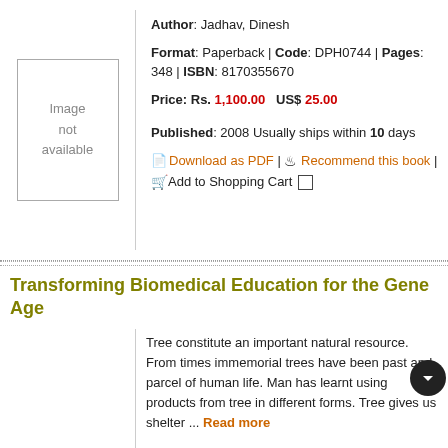[Figure (illustration): Image not available placeholder box]
Author: Jadhav, Dinesh
Format: Paperback | Code: DPH0744 | Pages: 348 | ISBN: 8170355670
Price: Rs. 1,100.00   US$ 25.00
Published: 2008 Usually ships within 10 days
Download as PDF | Recommend this book | Add to Shopping Cart
Transforming Biomedical Education for the Gene Age
Tree constitute an important natural resource. From times immemorial trees have been past and parcel of human life. Man has learnt using products from tree in different forms. Tree gives us shelter ... Read more
Author: Rawat, S P